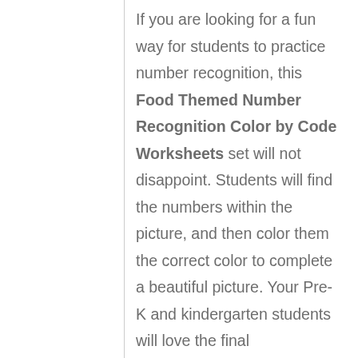If you are looking for a fun way for students to practice number recognition, this Food Themed Number Recognition Color by Code Worksheets set will not disappoint. Students will find the numbers within the picture, and then color them the correct color to complete a beautiful picture. Your Pre-K and kindergarten students will love the final